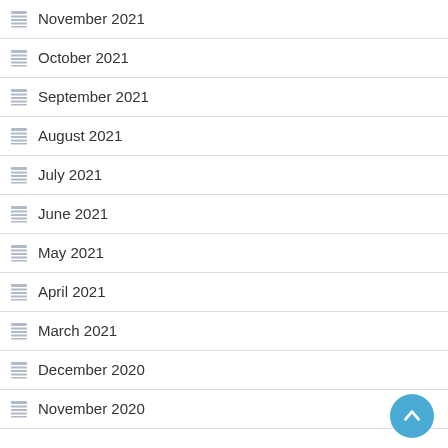November 2021
October 2021
September 2021
August 2021
July 2021
June 2021
May 2021
April 2021
March 2021
December 2020
November 2020